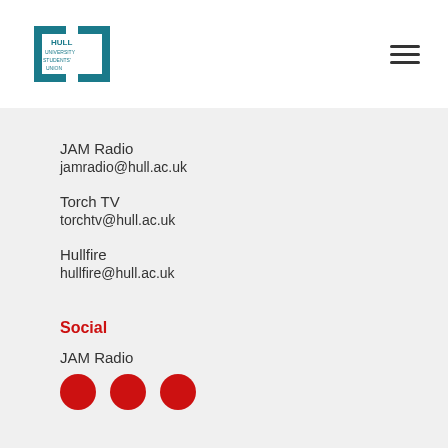[Figure (logo): Hull University Students' Union logo — teal/dark cyan square bracket motif with text HULL UNIVERSITY STUDENTS' UNION]
JAM Radio
jamradio@hull.ac.uk
Torch TV
torchtv@hull.ac.uk
Hullfire
hullfire@hull.ac.uk
Social
JAM Radio